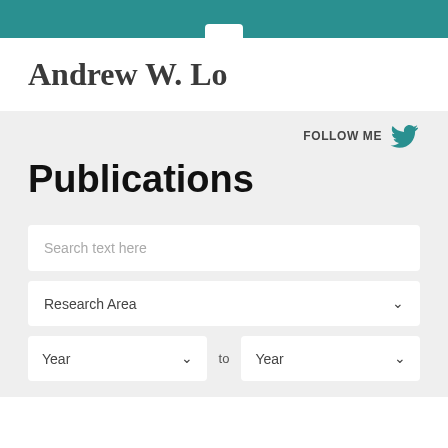Andrew W. Lo
Publications
FOLLOW ME
Search text here
Research Area
Year to Year